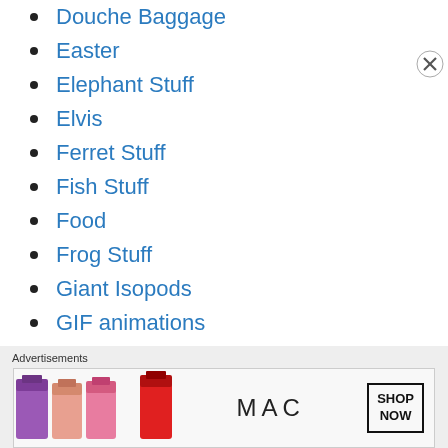Douche Baggage
Easter
Elephant Stuff
Elvis
Ferret Stuff
Fish Stuff
Food
Frog Stuff
Giant Isopods
GIF animations
Gift Ideas
Halloween
Heterochromia
[Figure (advertisement): MAC cosmetics advertisement showing lipsticks with SHOP NOW button]